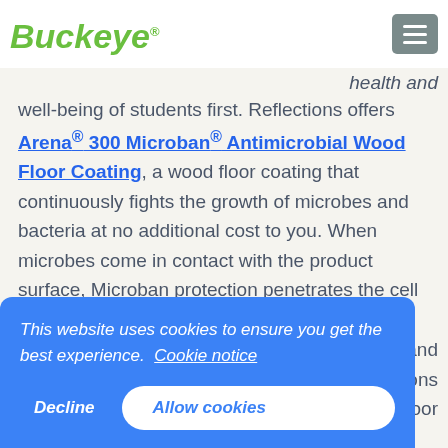Buckeye® [logo with hamburger menu]
health and well-being of students first. Reflections offers Arena® 300 Microban® Antimicrobial Wood Floor Coating, a wood floor coating that continuously fights the growth of microbes and bacteria at no additional cost to you. When microbes come in contact with the product surface, Microban protection penetrates the cell wall of the microorganism and disrupts the cell, making the
This website uses cookies to ensure you get the best experience. Cookie notice
Decline  Allow cookies
care products comes with hands-on, personalized